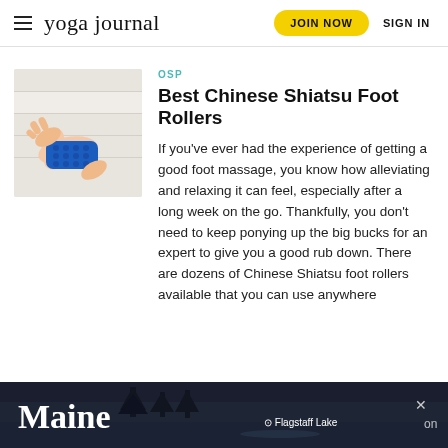yoga journal | JOIN NOW | SIGN IN
[Figure (photo): Hands holding a blue textured Chinese Shiatsu foot roller against a foot on a white wooden surface]
OSP
Best Chinese Shiatsu Foot Rollers
If you've ever had the experience of getting a good foot massage, you know how alleviating and relaxing it can feel, especially after a long week on the go. Thankfully, you don't need to keep ponying up the big bucks for an expert to give you a good rub down. There are dozens of Chinese Shiatsu foot rollers available that you can use anywhere
[Figure (photo): Maine travel advertisement banner showing a dark lake scene with text 'Maine' and 'Flagstaff Lake' location pin]